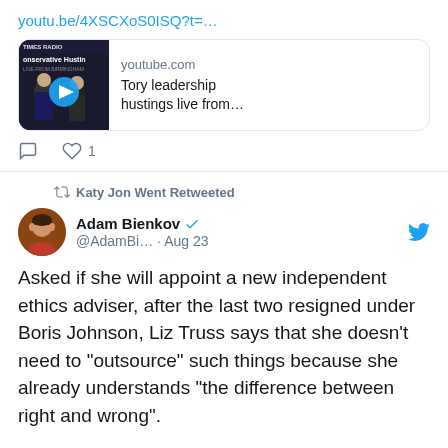youtu.be/4XSCXoS0ISQ?t=…
[Figure (screenshot): YouTube link preview card showing Tory leadership hustings video thumbnail with play button, domain youtube.com, title 'Tory leadership hustings live from...']
♡ 1
Katy Jon Went Retweeted
Adam Bienkov @AdamBi... · Aug 23
Asked if she will appoint a new independent ethics adviser, after the last two resigned under Boris Johnson, Liz Truss says that she doesn't need to "outsource" such things because she already understands "the difference between right and wrong".